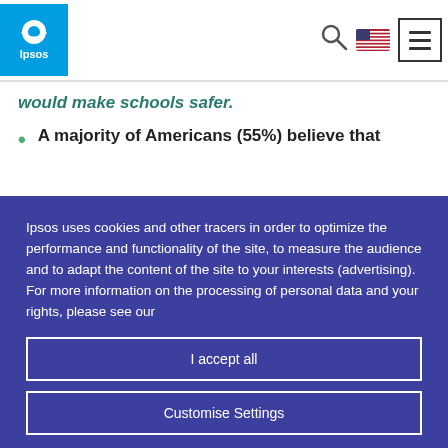Ipsos [logo] [search icon] [US flag] [menu icon]
would make schools safer.
A majority of Americans (55%) believe that
Ipsos uses cookies and other tracers in order to optimize the performance and functionality of the site, to measure the audience and to adapt the content of the site to your interests (advertising). For more information on the processing of personal data and your rights, please see our
I accept all
Customise Settings